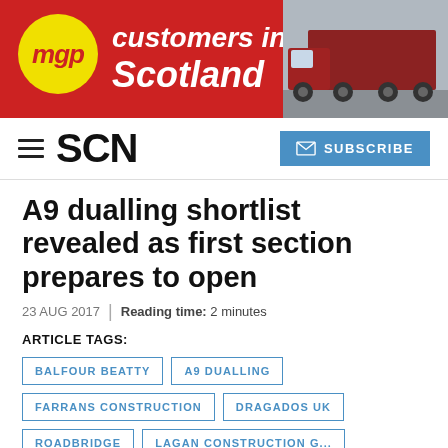[Figure (infographic): Red banner advertisement for MGP with yellow circle logo, white bold italic text reading 'customers in Scotland', and a truck image on the right side.]
SCN | SUBSCRIBE
A9 dualling shortlist revealed as first section prepares to open
23 AUG 2017 | Reading time: 2 minutes
ARTICLE TAGS:
BALFOUR BEATTY
A9 DUALLING
FARRANS CONSTRUCTION
DRAGADOS UK
ROADBRIDGE
LAGAN CONSTRUCTION G...
WILLS BROS